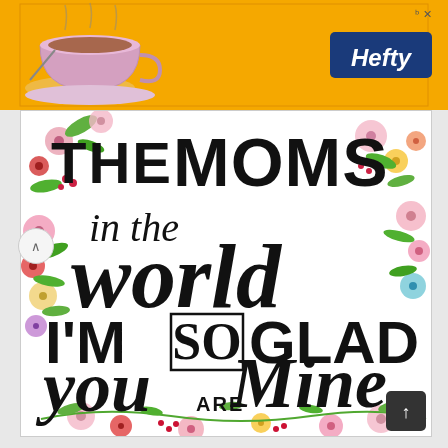[Figure (infographic): Hefty advertisement banner with orange background, tea cup illustration on the left, and Hefty logo in blue on the right with small close/info icons top right]
[Figure (illustration): Decorative greeting card illustration with hand-lettered text reading 'THE MOMS in the world I'M SO GLAD you ARE Mine' surrounded by colorful watercolor flowers forming a border]